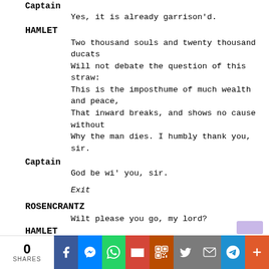Captain
Yes, it is already garrison'd.
HAMLET
Two thousand souls and twenty thousand ducats
Will not debate the question of this straw:
This is the imposthume of much wealth and peace,
That inward breaks, and shows no cause without
Why the man dies. I humbly thank you, sir.
Captain
God be wi' you, sir.
Exit
ROSENCRANTZ
Wilt please you go, my lord?
HAMLET
I'll be with you straight go a little before.
Exeunt all except HAMLET
0 SHARES | Facebook | Messenger | WhatsApp | Gmail | QR | Twitter | Mail | Telegram | +